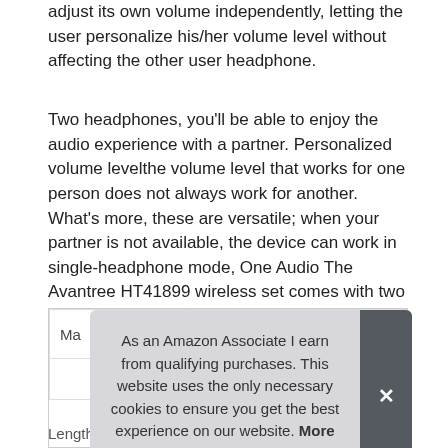adjust its own volume independently, letting the user personalize his/her volume level without affecting the other user headphone.
Two headphones, you'll be able to enjoy the audio experience with a partner. Personalized volume levelthe volume level that works for one person does not always work for another. What's more, these are versatile; when your partner is not available, the device can work in single-headphone mode, One Audio The Avantree HT41899 wireless set comes with two pairs of Bluetooth 5.0 headphones; with these, so you can still enjoy TV by yourself. All in-sync, the 41899 provides
| Ma |  |
|  |  |
| Length | 7.48 Inches |
As an Amazon Associate I earn from qualifying purchases. This website uses the only necessary cookies to ensure you get the best experience on our website. More information